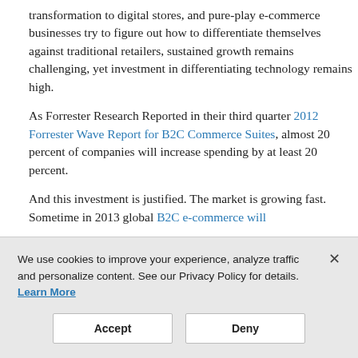transformation to digital stores, and pure-play e-commerce businesses try to figure out how to differentiate themselves against traditional retailers, sustained growth remains challenging, yet investment in differentiating technology remains high.
As Forrester Research Reported in their third quarter 2012 Forrester Wave Report for B2C Commerce Suites, almost 20 percent of companies will increase spending by at least 20 percent.
And this investment is justified. The market is growing fast. Sometime in 2013 global B2C e-commerce will
We use cookies to improve your experience, analyze traffic and personalize content. See our Privacy Policy for details. Learn More
Accept
Deny